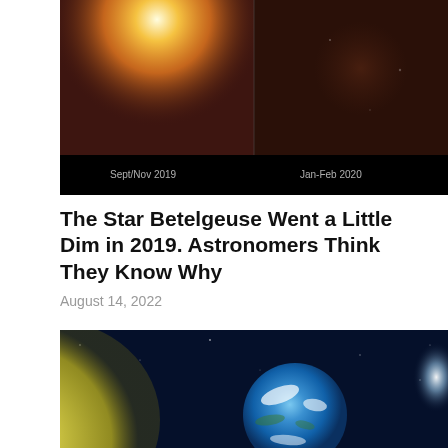[Figure (photo): Side-by-side comparison image of the star Betelgeuse, showing a bright orange-yellow star on the left labeled approximately 'Sept/Nov 2019' and a dimmer, darker version on the right labeled approximately 'Jan-Feb 2020', against a dark reddish background.]
The Star Betelgeuse Went a Little Dim in 2019. Astronomers Think They Know Why
August 14, 2022
[Figure (photo): An artistic or rendered image showing what appears to be a large yellowish-green celestial body on the left side and Earth (blue and white) in the center-right, against a dark blue space background with a bright streak of light on the far right.]